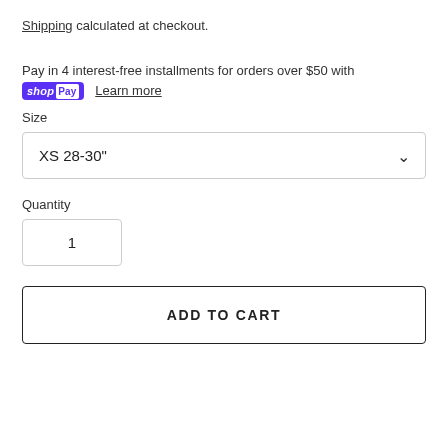Shipping calculated at checkout.
Pay in 4 interest-free installments for orders over $50 with shop Pay  Learn more
Size
XS 28-30"
Quantity
1
ADD TO CART